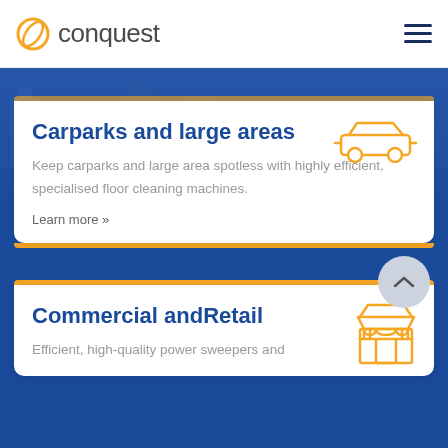conquest
[Figure (screenshot): City skyline background behind blue section with Conquest website navigation and content cards]
Carparks and large areas
Keep carparks and large area spotless with highly efficient, specialised floor cleaning machines.
Learn more »
Commercial andRetail
Efficient, high-quality power sweepers and